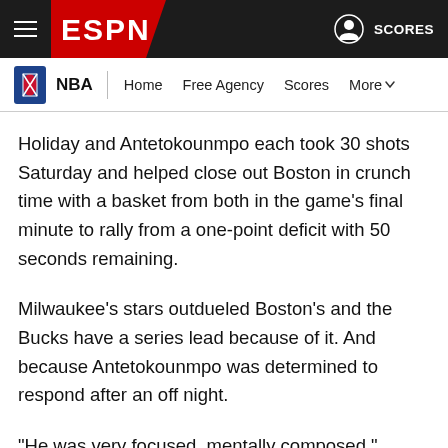ESPN navigation bar with hamburger menu, ESPN logo, user icon and SCORES
NBA | Home  Free Agency  Scores  More
Holiday and Antetokounmpo each took 30 shots Saturday and helped close out Boston in crunch time with a basket from both in the game's final minute to rally from a one-point deficit with 50 seconds remaining.
Milwaukee's stars outdueled Boston's and the Bucks have a series lead because of it. And because Antetokounmpo was determined to respond after an off night.
"He was very focused, mentally composed," Lopez said about Antetokounmpo's preparation this week. "Getting his work in when we'd come in for practice, watching a lot of film, just going over a lot of stuff. He was definitely prepared for tonight. That's just Giannis."